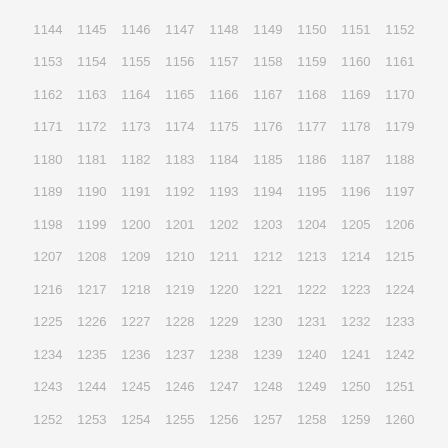1144 1145 1146 1147 1148 1149 1150 1151 1152 1153 1154 1155 1156 1157 1158 1159 1160 1161 1162 1163 1164 1165 1166 1167 1168 1169 1170 1171 1172 1173 1174 1175 1176 1177 1178 1179 1180 1181 1182 1183 1184 1185 1186 1187 1188 1189 1190 1191 1192 1193 1194 1195 1196 1197 1198 1199 1200 1201 1202 1203 1204 1205 1206 1207 1208 1209 1210 1211 1212 1213 1214 1215 1216 1217 1218 1219 1220 1221 1222 1223 1224 1225 1226 1227 1228 1229 1230 1231 1232 1233 1234 1235 1236 1237 1238 1239 1240 1241 1242 1243 1244 1245 1246 1247 1248 1249 1250 1251 1252 1253 1254 1255 1256 1257 1258 1259 1260